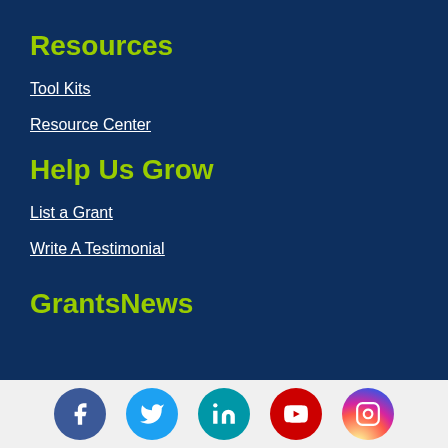Resources
Tool Kits
Resource Center
Help Us Grow
List a Grant
Write A Testimonial
GrantsNews
[Figure (infographic): Social media icons row: Facebook (dark blue circle), Twitter (light blue circle), LinkedIn (teal circle), YouTube (red circle), Instagram (gradient circle)]